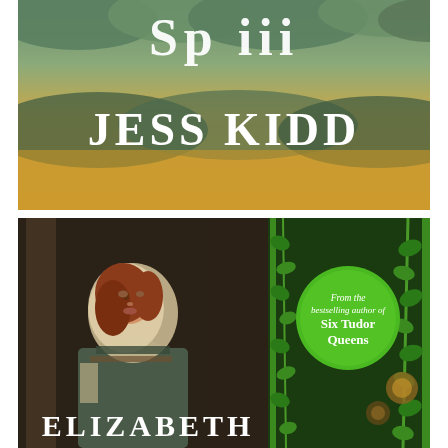[Figure (illustration): Top book cover: golden/sandy sky background with green cloudy horizon, white serif text showing partial title 'Sp iii' at top and author name 'JESS KIDD' in large white serif font below]
[Figure (illustration): Bottom book cover: medieval historical fiction book cover showing a red-haired young woman in a grey-green hooded medieval dress looking sideways, dark stone archway setting. Right half shows dark green decorative border with ivy/vine motifs and a circular green badge reading 'From the bestselling author of Six Tudor Queens'. Author name 'ELIZABETH' visible at bottom in large white serif font.]